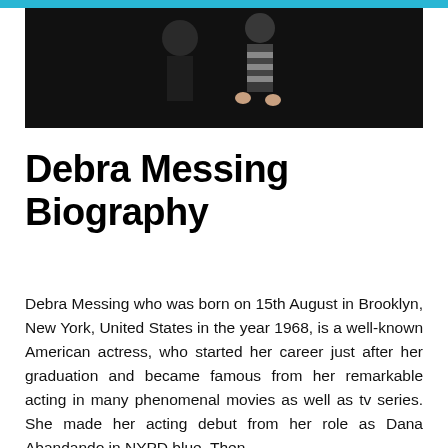[Figure (photo): Dark photo showing what appears to be performers or dancers against a black background, one wearing a striped outfit]
Debra Messing Biography
Debra Messing who was born on 15th August in Brooklyn, New York, United States in the year 1968, is a well-known American actress, who started her career just after her graduation and became famous from her remarkable acting in many phenomenal movies as well as tv series. She made her acting debut from her role as Dana Abandando in NYPD blue. Then